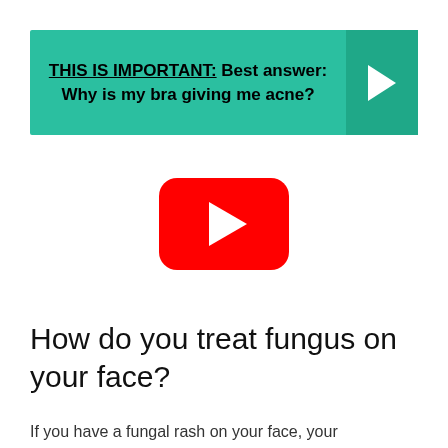[Figure (infographic): Teal/green promotional banner with text: THIS IS IMPORTANT: Best answer: Why is my bra giving me acne? with a right-arrow chevron on the right side in a darker teal box.]
[Figure (screenshot): YouTube play button logo — red rounded rectangle with white play triangle in center.]
How do you treat fungus on your face?
If you have a fungal rash on your face, your